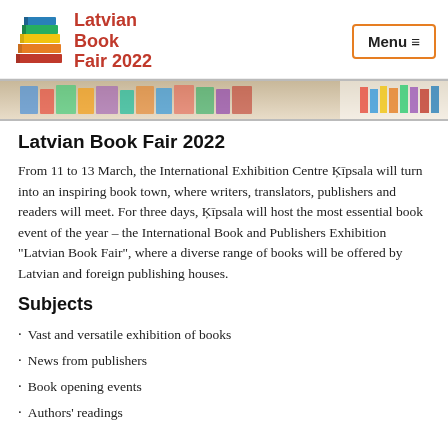[Figure (logo): Latvian Book Fair 2022 logo with stacked colorful books icon and red text]
[Figure (photo): Hero image showing books on shelves, partially visible]
Latvian Book Fair 2022
From 11 to 13 March, the International Exhibition Centre Ķīpsala will turn into an inspiring book town, where writers, translators, publishers and readers will meet. For three days, Ķīpsala will host the most essential book event of the year – the International Book and Publishers Exhibition "Latvian Book Fair", where a diverse range of books will be offered by Latvian and foreign publishing houses.
Subjects
Vast and versatile exhibition of books
News from publishers
Book opening events
Authors' readings